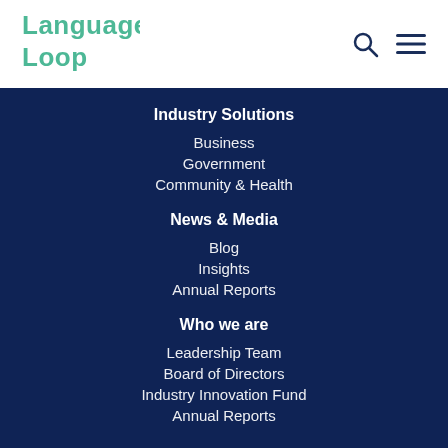[Figure (logo): Language Loop logo in teal/green color, two-line text]
Industry Solutions
Business
Government
Community & Health
News & Media
Blog
Insights
Annual Reports
Who we are
Leadership Team
Board of Directors
Industry Innovation Fund
Annual Reports